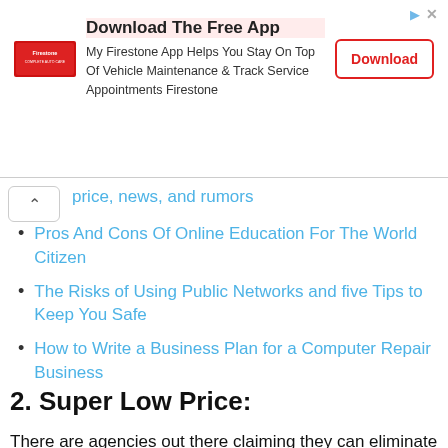[Figure (other): Firestone app advertisement banner with logo, text, and Download button]
price, news, and rumors
Pros And Cons Of Online Education For The World Citizen
The Risks of Using Public Networks and five Tips to Keep You Safe
How to Write a Business Plan for a Computer Repair Business
2. Super Low Price:
There are agencies out there claiming they can eliminate viruses, restore any troubles, and do a PC track-up, interested in the low charge of $39 Ninety-nine. As a person